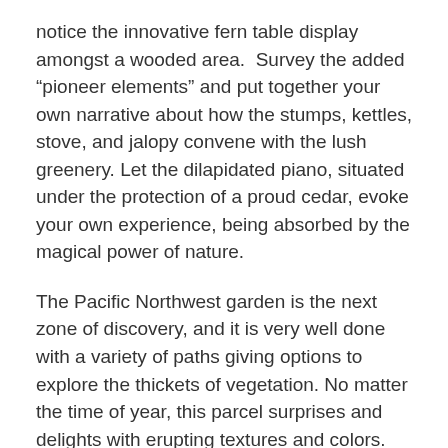notice the innovative fern table display amongst a wooded area.  Survey the added “pioneer elements” and put together your own narrative about how the stumps, kettles, stove, and jalopy convene with the lush greenery. Let the dilapidated piano, situated under the protection of a proud cedar, evoke your own experience, being absorbed by the magical power of nature.
The Pacific Northwest garden is the next zone of discovery, and it is very well done with a variety of paths giving options to explore the thickets of vegetation. No matter the time of year, this parcel surprises and delights with erupting textures and colors.
Don’t forget to visit the show-stopping formal garden, complete with stone pathways that lead to quirky fountains framed in by profuse flairs of colors that vary from color to color, to the next floor of beverages, and